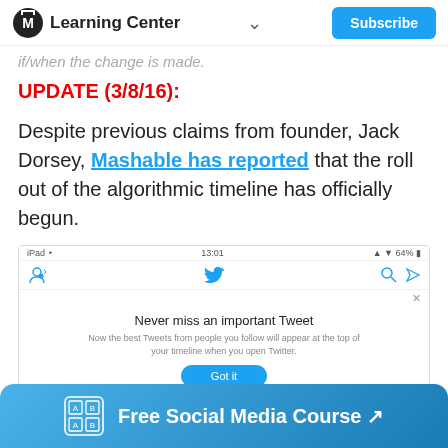Learning Center | Subscribe
if/when the change is made.
UPDATE (3/8/16):
Despite previous claims from founder, Jack Dorsey, Mashable has reported that the roll out of the algorithmic timeline has officially begun.
[Figure (screenshot): iPad Twitter app screenshot showing 'Never miss an important Tweet' notification popup with 'Got it' button and 'Change my settings' link]
Free Social Media Course ↗